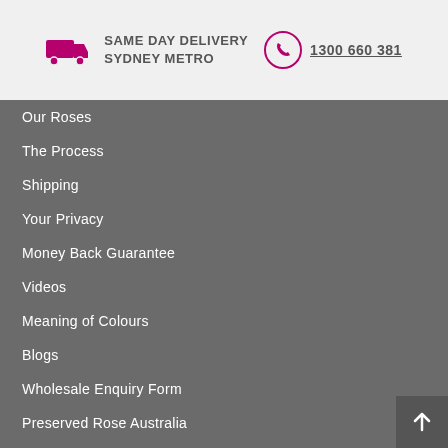SAME DAY DELIVERY SYDNEY METRO  1300 660 381
Our Roses
The Process
Shipping
Your Privacy
Money Back Guarantee
Videos
Meaning of Colours
Blogs
Wholesale Enquiry Form
Preserved Rose Australia
OCCASIONS
Weddings
Valentine's Day
Graduation